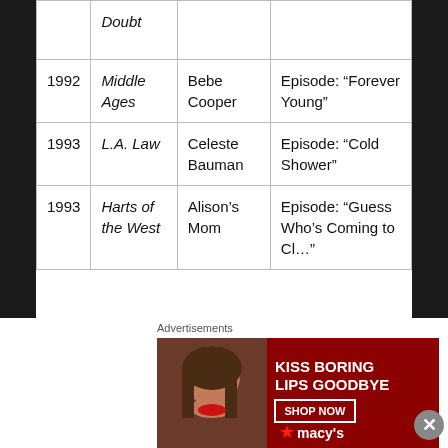| Year | Show | Role | Notes |
| --- | --- | --- | --- |
|  | Doubt |  |  |
| 1992 | Middle Ages | Bebe Cooper | Episode: “Forever Young” |
| 1993 | L.A. Law | Celeste Bauman | Episode: “Cold Shower” |
| 1993 | Harts of the West | Alison’s Mom | Episode: “Guess Who’s Coming to Dinner?” |
Advertisements
[Figure (photo): Macy's advertisement banner: KISS BORING LIPS GOODBYE with SHOP NOW button and Macy's star logo on dark red background with a woman's face showing red lipstick.]